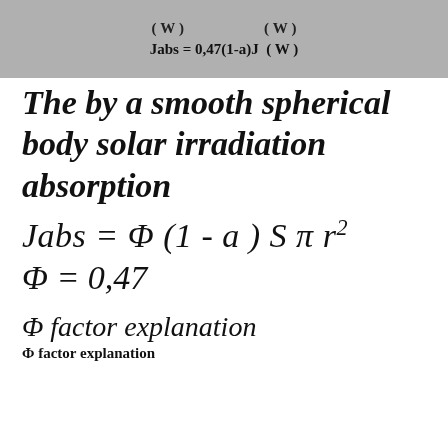| (W) | (W) | Jabs=0,47(1-a)J (W) |
| --- | --- | --- |
The by a smooth spherical body solar irradiation absorption
Φ factor explanation
Φ factor explanation